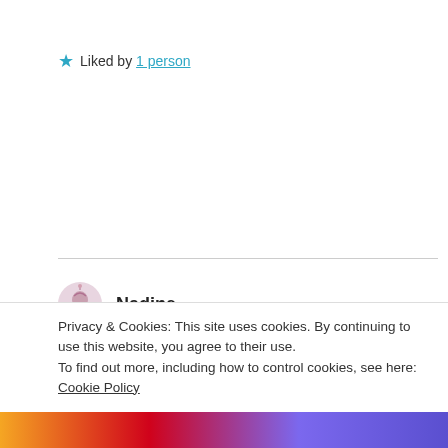★ Liked by 1 person
Nadine
August 1, 2019 at 4:59 pm
How do you do it? Smashing words together so beautifully. An apocalyptic self-ironic dream of a piece, in which the life guard yearns for cherry cola instead of water.
Privacy & Cookies: This site uses cookies. By continuing to use this website, you agree to their use. To find out more, including how to control cookies, see here: Cookie Policy
Close and accept